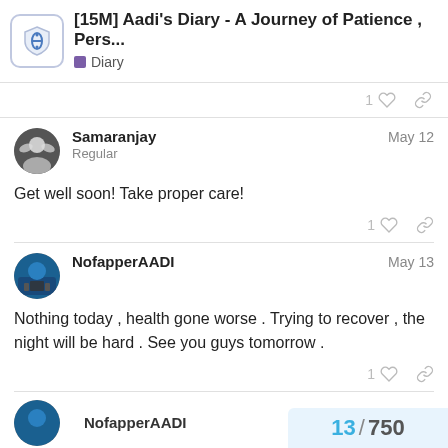[15M] Aadi's Diary - A Journey of Patience , Pers... | Diary
Samaranjay  May 12
Regular
Get well soon! Take proper care!
NofapperAADI  May 13
Nothing today , health gone worse . Trying to recover , the night will be hard . See you guys tomorrow .
NofapperAADI